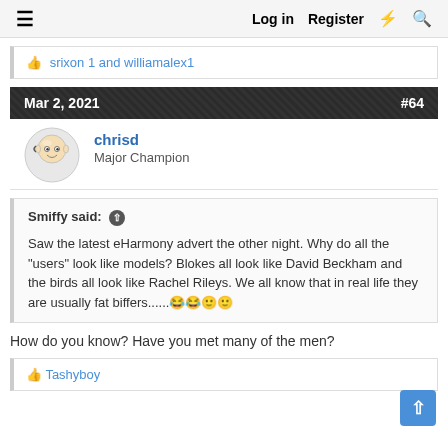≡  Log in  Register  ⚡  🔍
👍 srixon 1 and williamalex1
Mar 2, 2021   #64
chrisd
Major Champion
Smiffy said: ↑

Saw the latest eHarmony advert the other night. Why do all the "users" look like models? Blokes all look like David Beckham and the birds all look like Rachel Rileys. We all know that in real life they are usually fat biffers......😂😂😊😊
How do you know? Have you met many of the men?
👍 Tashyboy